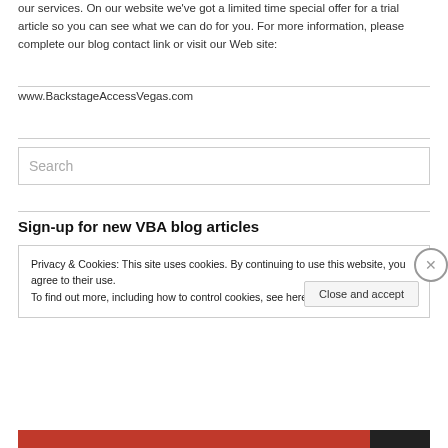our services. On our website we've got a limited time special offer for a trial article so you can see what we can do for you. For more information, please complete our blog contact link or visit our Web site:
www.BackstageAccessVegas.com
[Figure (screenshot): Search input box with placeholder text 'Search']
Sign-up for new VBA blog articles
Privacy & Cookies: This site uses cookies. By continuing to use this website, you agree to their use.
To find out more, including how to control cookies, see here: Cookie Policy
Close and accept